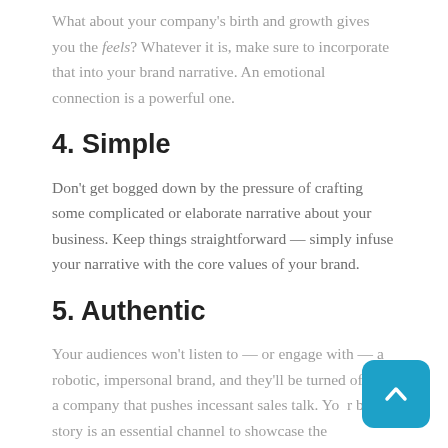What about your company's birth and growth gives you the feels? Whatever it is, make sure to incorporate that into your brand narrative. An emotional connection is a powerful one.
4. Simple
Don't get bogged down by the pressure of crafting some complicated or elaborate narrative about your business. Keep things straightforward — simply infuse your narrative with the core values of your brand.
5. Authentic
Your audiences won't listen to — or engage with — a robotic, impersonal brand, and they'll be turned off by a company that pushes incessant sales talk. Your brand story is an essential channel to showcase the